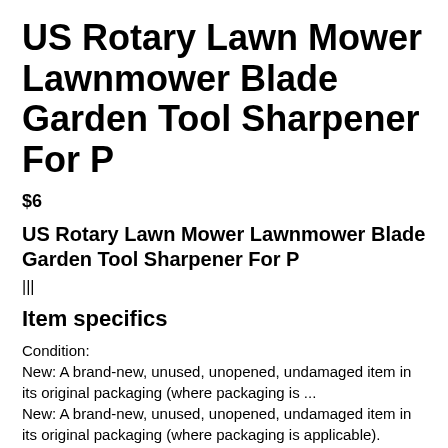US Rotary Lawn Mower Lawnmower Blade Garden Tool Sharpener For P
$6
US Rotary Lawn Mower Lawnmower Blade Garden Tool Sharpener For P
|||
Item specifics
Condition:
New: A brand-new, unused, unopened, undamaged item in its original packaging (where packaging is ...
New: A brand-new, unused, unopened, undamaged item in its original packaging (where packaging is applicable). Packaging